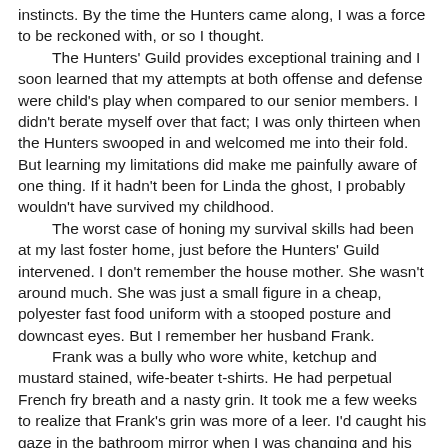instincts.  By the time the Hunters came along, I was a force to be reckoned with, or so I thought.
	The Hunters' Guild provides exceptional training and I soon learned that my attempts at both offense and defense were child's play when compared to our senior members.  I didn't berate myself over that fact; I was only thirteen when the Hunters swooped in and welcomed me into their fold.  But learning my limitations did make me painfully aware of one thing.  If it hadn't been for Linda the ghost, I probably wouldn't have survived my childhood.
	The worst case of honing my survival skills had been at my last foster home, just before the Hunters' Guild intervened.  I don't remember the house mother.  She wasn't around much.  She was just a small figure in a cheap, polyester fast food uniform with a stooped posture and downcast eyes.  But I remember her husband Frank.
	Frank was a bully who wore white, ketchup and mustard stained, wife-beater t-shirts.  He had perpetual French fry breath and a nasty grin.  It took me a few weeks to realize that Frank's grin was more of a leer.  I'd caught his gaze in the bathroom mirror when I was changing and his eyes said it all: Frank was a perv.